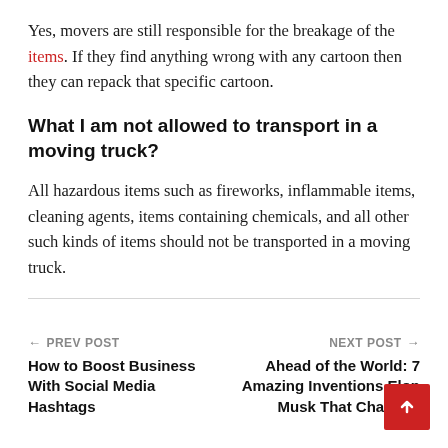Yes, movers are still responsible for the breakage of the items. If they find anything wrong with any cartoon then they can repack that specific cartoon.
What I am not allowed to transport in a moving truck?
All hazardous items such as fireworks, inflammable items, cleaning agents, items containing chemicals, and all other such kinds of items should not be transported in a moving truck.
← PREV POST
How to Boost Business With Social Media Hashtags
NEXT POST →
Ahead of the World: 7 Amazing Inventions Elon Musk That Changed